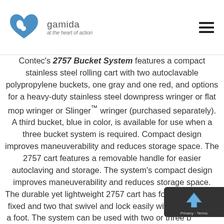Gamida — at the heart of action
Contec's 2757 Bucket System features a compact stainless steel rolling cart with two autoclavable polypropylene buckets, one gray and one red, and options for a heavy-duty stainless steel downpress wringer or flat mop wringer or Slinger™ wringer (purchased separately). A third bucket, blue in color, is available for use when a three bucket system is required. Compact design improves maneuverability and reduces storage space. The 2757 cart features a removable handle for easier autoclaving and storage. The system's compact design improves maneuverability and reduces storage space. The durable yet lightweight 2757 cart has four casters, two fixed and two that swivel and lock easily with the touch of a foot. The system can be used with two or three buckets, depending upon your cleaning protocols. An extendable ...